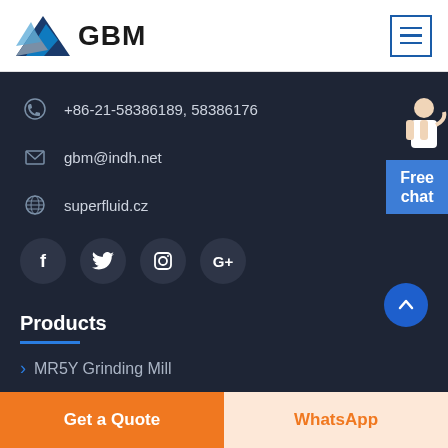[Figure (logo): GBM logo with blue mountain/arrow graphic and bold GBM text]
[Figure (illustration): Hamburger menu icon in blue border square]
+86-21-58386189, 58386176
gbm@indh.net
superfluid.cz
[Figure (illustration): Social media icons: Facebook, Twitter, Instagram, Google+]
[Figure (illustration): Customer service representative with Free chat button]
Products
MR5Y Grinding Mill
Get a Quote | WhatsApp